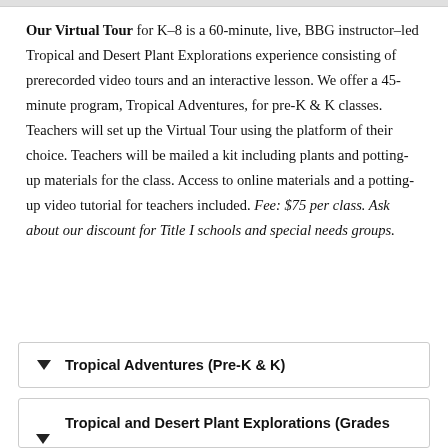Our Virtual Tour for K–8 is a 60-minute, live, BBG instructor–led Tropical and Desert Plant Explorations experience consisting of prerecorded video tours and an interactive lesson. We offer a 45-minute program, Tropical Adventures, for pre-K & K classes. Teachers will set up the Virtual Tour using the platform of their choice. Teachers will be mailed a kit including plants and potting-up materials for the class. Access to online materials and a potting-up video tutorial for teachers included. Fee: $75 per class. Ask about our discount for Title I schools and special needs groups.
Tropical Adventures (Pre-K & K)
Tropical and Desert Plant Explorations (Grades